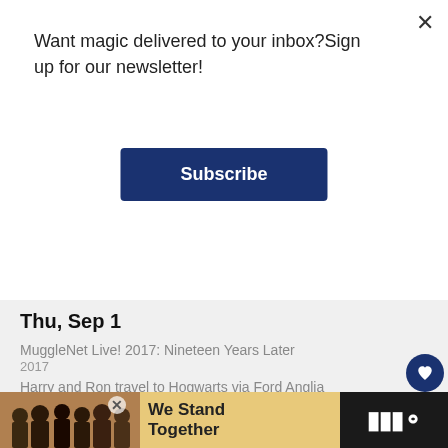Want magic delivered to your inbox?Sign up for our newsletter!
Subscribe
Thu, Sep 1
MuggleNet Live! 2017: Nineteen Years Later
2017
Harry and Ron travel to Hogwarts via Ford Anglia
1992
Harry's first ride on the Hogwarts Express
1991
[Figure (screenshot): Bottom advertisement bar showing group of people with text 'We Stand Together']